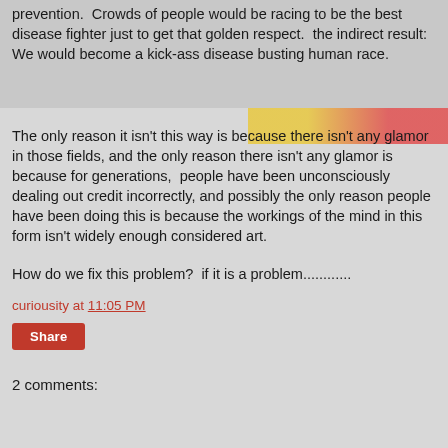prevention.  Crowds of people would be racing to be the best disease fighter just to get that golden respect.  the indirect result:  We would become a kick-ass disease busting human race.
The only reason it isn't this way is because there isn't any glamor in those fields, and the only reason there isn't any glamor is because for generations,  people have been unconsciously dealing out credit incorrectly, and possibly the only reason people have been doing this is because the workings of the mind in this form isn't widely enough considered art.
How do we fix this problem?  if it is a problem............
curiousity at 11:05 PM
Share
2 comments: